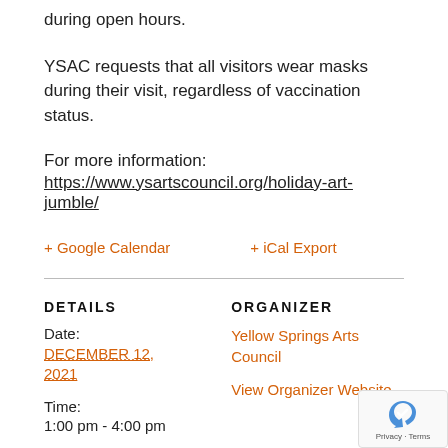during open hours.
YSAC requests that all visitors wear masks during their visit, regardless of vaccination status.
For more information:
https://www.ysartscouncil.org/holiday-art-jumble/
+ Google Calendar    + iCal Export
DETAILS
Date:
DECEMBER 12, 2021
Time:
1:00 pm - 4:00 pm
ORGANIZER
Yellow Springs Arts Council
View Organizer Website